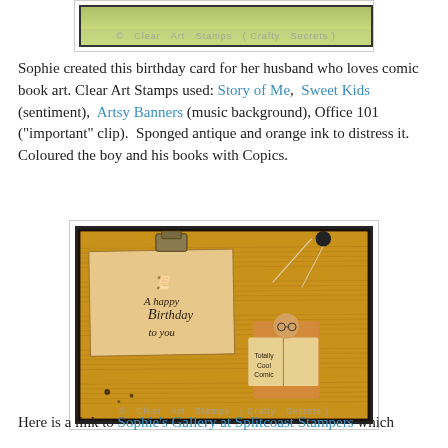[Figure (photo): Top portion of a crafted birthday card image showing green background with 'Clear Art Stamps (Crafty Secrets)' watermark at bottom]
Sophie created this birthday card for her husband who loves comic book art. Clear Art Stamps used: Story of Me,  Sweet Kids (sentiment),  Artsy Banners (music background), Office 101 ("important" clip).  Sponged antique and orange ink to distress it.  Coloured the boy and his books with Copics.
[Figure (photo): A handmade birthday card with music sheet background paper in antique brown/gold tones. Features a sentiment panel reading 'A happy Birthday to you', a boy figure reading a comic book labeled 'Totally Cool Comic', with clips and embellishments. Watermark reads 'Clear Art Stamps (Crafty Secrets)']
Here is a link to Sophie's Gallery at Splitcoast Stampers which